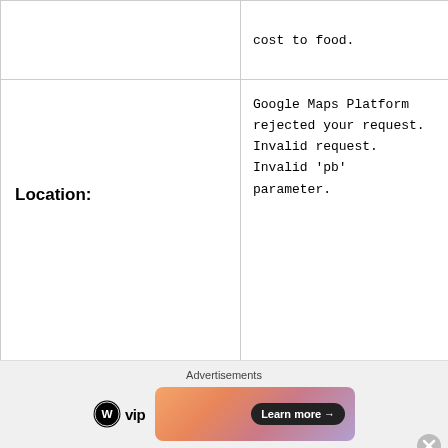cost to food.
Google Maps Platform rejected your request. Invalid request. Invalid 'pb' parameter.
Location:
Advertisements
[Figure (logo): WordPress VIP logo with circular WordPress icon and 'vip' text]
[Figure (infographic): Advertisement banner with gradient pink/orange background and 'Learn more →' button in dark pill shape]